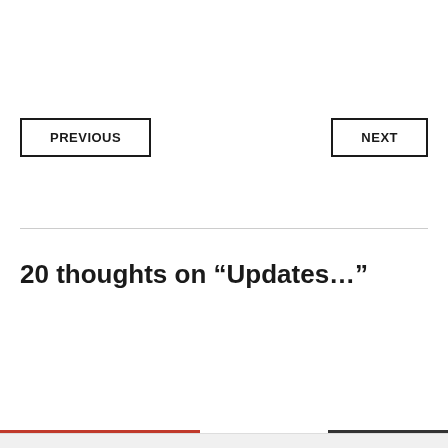PREVIOUS
NEXT
20 thoughts on “Updates…”
Privacy & Cookies: This site uses cookies. By continuing to use this website, you agree to their use.
To find out more, including how to control cookies, see here: Cookie Policy
Close and accept